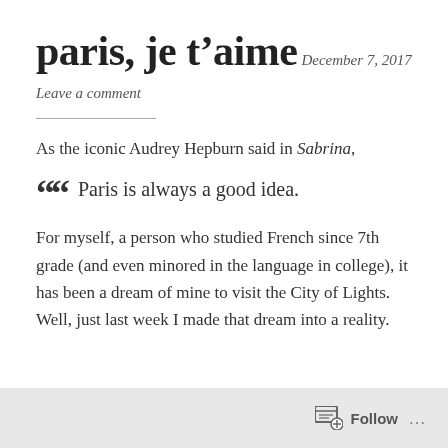paris, je t’aime
December 7, 2017
Leave a comment
As the iconic Audrey Hepburn said in Sabrina,
““  Paris is always a good idea.
For myself, a person who studied French since 7th grade (and even minored in the language in college), it has been a dream of mine to visit the City of Lights. Well, just last week I made that dream into a reality.
Follow …